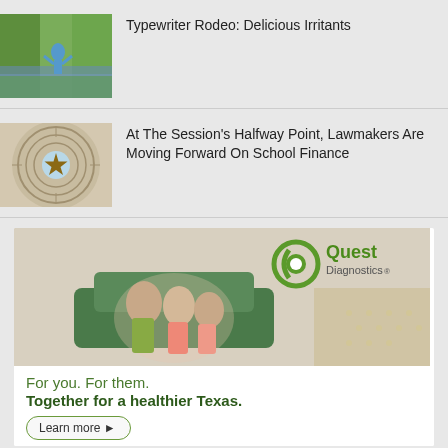[Figure (photo): Child running in a bluebonnet field with trees in background]
Typewriter Rodeo: Delicious Irritants
[Figure (photo): Texas Capitol dome ceiling viewed from below with star motif]
At The Session's Halfway Point, Lawmakers Are Moving Forward On School Finance
[Figure (photo): Quest Diagnostics advertisement showing three girls sitting together near a car, with Quest Diagnostics logo]
For you. For them.
Together for a healthier Texas.
Learn more ▶